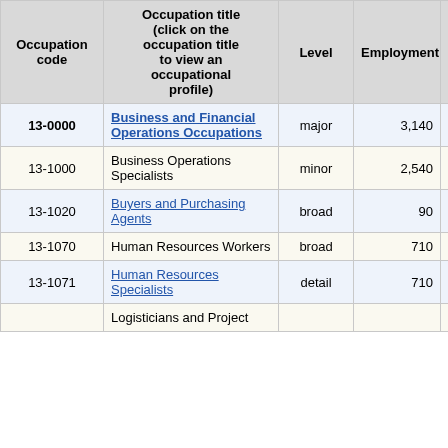| Occupation code | Occupation title (click on the occupation title to view an occupational profile) | Level | Employment | Employment RSE |
| --- | --- | --- | --- | --- |
| 13-0000 | Business and Financial Operations Occupations | major | 3,140 | 9.4% |
| 13-1000 | Business Operations Specialists | minor | 2,540 | 9.6% |
| 13-1020 | Buyers and Purchasing Agents | broad | 90 | 16.0% |
| 13-1070 | Human Resources Workers | broad | 710 | 13.5% |
| 13-1071 | Human Resources Specialists | detail | 710 | 13.6% |
|  | Logisticians and Project… |  |  |  |